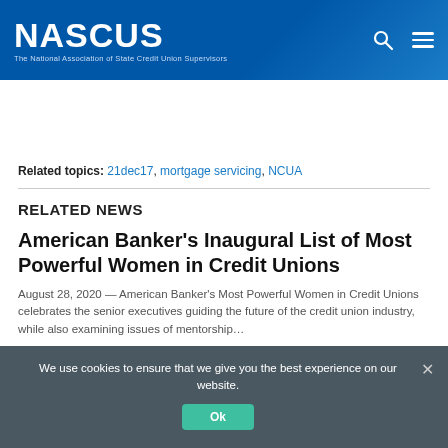[Figure (logo): NASCUS logo — white bold text 'NASCUS' with subtitle 'The National Association of State Credit Union Supervisors' on a blue gradient header banner. Search and menu icons on the right.]
Related topics: 21dec17, mortgage servicing, NCUA
RELATED NEWS
American Banker's Inaugural List of Most Powerful Women in Credit Unions
August 28, 2020 — American Banker's Most Powerful Women in Credit Unions celebrates the senior executives guiding the future of the credit union industry, while also examining issues of mentorship...
We use cookies to ensure that we give you the best experience on our website.